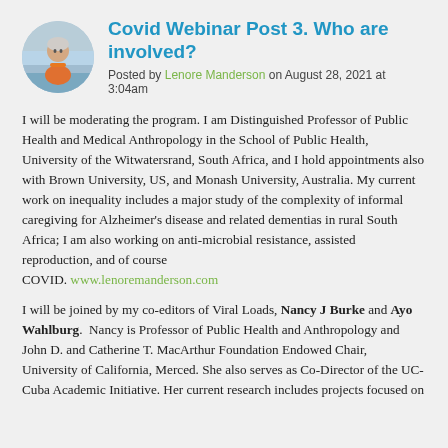[Figure (photo): Circular avatar photo of Lenore Manderson]
Covid Webinar Post 3. Who are involved?
Posted by Lenore Manderson on August 28, 2021 at 3:04am
I will be moderating the program. I am Distinguished Professor of Public Health and Medical Anthropology in the School of Public Health, University of the Witwatersrand, South Africa, and I hold appointments also with Brown University, US, and Monash University, Australia. My current work on inequality includes a major study of the complexity of informal caregiving for Alzheimer's disease and related dementias in rural South Africa; I am also working on anti-microbial resistance, assisted reproduction, and of course COVID. www.lenoremanderson.com
I will be joined by my co-editors of Viral Loads, Nancy J Burke and Ayo Wahlburg. Nancy is Professor of Public Health and Anthropology and John D. and Catherine T. MacArthur Foundation Endowed Chair, University of California, Merced. She also serves as Co-Director of the UC-Cuba Academic Initiative. Her current research includes projects focused on